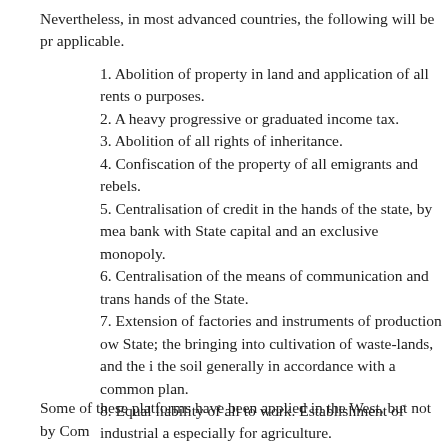Nevertheless, in most advanced countries, the following will be pr applicable.
1. Abolition of property in land and application of all rents o purposes.
2. A heavy progressive or graduated income tax.
3. Abolition of all rights of inheritance.
4. Confiscation of the property of all emigrants and rebels.
5. Centralisation of credit in the hands of the state, by mea bank with State capital and an exclusive monopoly.
6. Centralisation of the means of communication and trans hands of the State.
7. Extension of factories and instruments of production ow State; the bringing into cultivation of waste-lands, and the i the soil generally in accordance with a common plan.
8. Equal liability of all to work. Establishment of industrial a especially for agriculture.
9. Combination of agriculture with manufacturing industries abolition of all the distinction between town and country by equable distribution of the populace over the country.
10. Free education for all children in public schools. Aboliti factory labour in its present form. Combination of educatio production, &c, &c.
Some of these platforms have been applied in the West, but not by Com